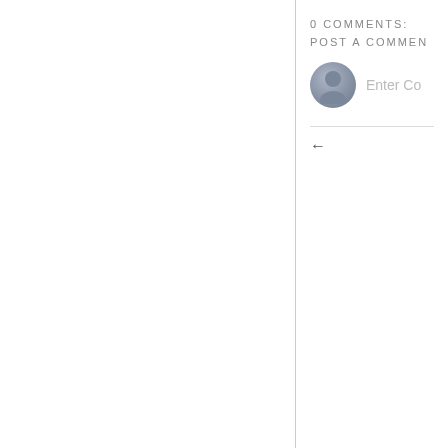0 COMMENTS:
POST A COMMENT
Enter Co
←
POLITICAL TALK
LATEST 411
url: "http://hosted2.ap.org/atom/APDEFAULT/89ae8247abe84 - is not a valid feed
#FlashbackFrida Discusses ...
Just Released! Ch What Reall...
#FlashbackFrida Live on ...